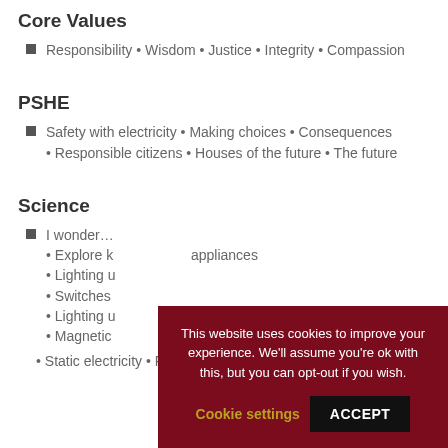Core Values
Responsibility • Wisdom • Justice • Integrity • Compassion
PSHE
Safety with electricity • Making choices • Consequences
• Responsible citizens • Houses of the future • The future
Science
I wonder…
• Explore k… appliances
• Lighting u…
• Switches …
• Lighting u…
• Magnetic …
• Static electricity • Finding out about Magnets
This website uses cookies to improve your experience. We'll assume you're ok with this, but you can opt-out if you wish. Cookie settings ACCEPT